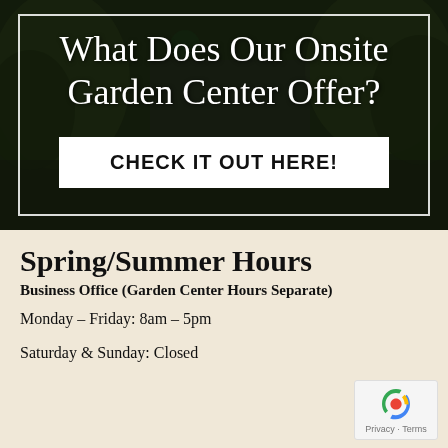[Figure (photo): Garden center storefront photo with dark overlay, script text reading 'What Does Our Onsite Garden Center Offer?' and a white button 'CHECK IT OUT HERE!']
Spring/Summer Hours
Business Office (Garden Center Hours Separate)
Monday – Friday: 8am – 5pm
Saturday & Sunday: Closed